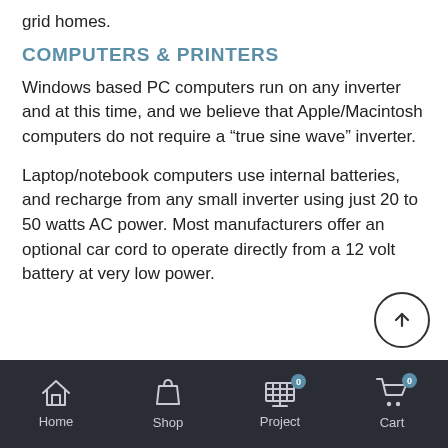grid homes.
COMPUTERS & PRINTERS
Windows based PC computers run on any inverter and at this time, and we believe that Apple/Macintosh computers do not require a “true sine wave” inverter.
Laptop/notebook computers use internal batteries, and recharge from any small inverter using just 20 to 50 watts AC power. Most manufacturers offer an optional car cord to operate directly from a 12 volt battery at very low power.
Home  Shop  Project 0  Cart 0